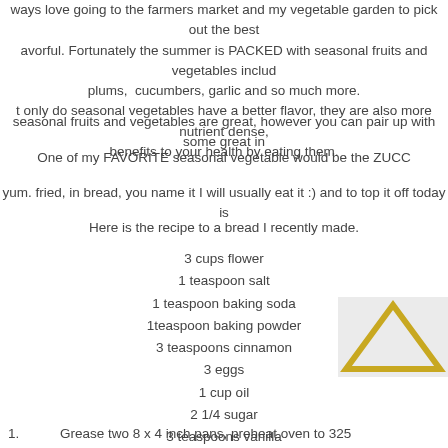ways love going to the farmers market and my vegetable garden to pick out the best avorful. Fortunately the summer is PACKED with seasonal fruits and vegetables includ plums, cucumbers, garlic and so much more. t only do seasonal vegetables have a better flavor, they are also more nutrient dense, benefits to your health by eating them.
seasonal fruits and vegetables are great, however you can pair up with some great in
One of my FAVORITE seasonal vegetable would be the ZUCC
yum. fried, in bread, you name it I will usually eat it :) and to top it off today is
Here is the recipe to a bread I recently made.
3 cups flower
1 teaspoon salt
1 teaspoon baking soda
1teaspoon baking powder
3 teaspoons cinnamon
3 eggs
1 cup oil
2 1/4 sugar
3 teaspoons vanilla
2 cups grated zucchini
[Figure (illustration): A yellow/gold triangle outline icon on a gray background]
1.    Grease two 8 x 4 inch pans, preheat oven to 325